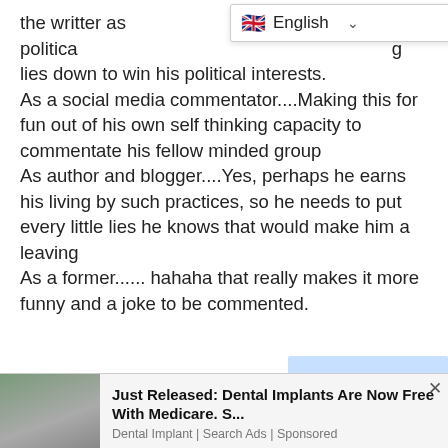the writter as politica... [language bar overlay] ...g lies down to win his political interests.
As a social media commentator....Making this for fun out of his own self thinking capacity to commentate his fellow minded group
As author and blogger....Yes, perhaps he earns his living by such practices, so he needs to put every little lies he knows that would make him a leaving
As a former...... hahaha that really makes it more funny and a joke to be commented.
NOEL KENNEDY SAITOTI
20 MAY, 2020 AT 00:02
We are seeing with our own eyes what is
[Figure (other): Advertisement banner: photo of a woman, text 'Just Released: Dental Implants Are Now Free With Medicare. S...' with 'Dental Implant | Search Ads | Sponsored']